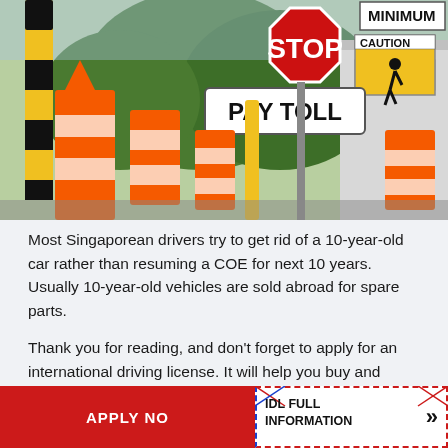[Figure (photo): Photo of a toll plaza with road signs including a red STOP sign, a PAY TOLL sign, CAUTION pedestrian crossing sign, MINIMUM sign, and orange traffic barriers/construction cones]
Most Singaporean drivers try to get rid of a 10-year-old car rather than resuming a COE for next 10 years. Usually 10-year-old vehicles are sold abroad for spare parts.
Thank you for reading, and don't forget to apply for an international driving license. It will help you buy and register a car in a new country without additional questions about your national driving permit.